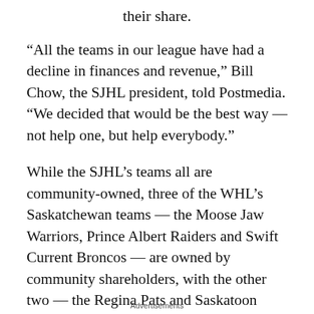their share.
“All the teams in our league have had a decline in finances and revenue,” Bill Chow, the SJHL president, told Postmedia. “We decided that would be the best way — not help one, but help everybody.”
While the SJHL’s teams all are community-owned, three of the WHL’s Saskatchewan teams — the Moose Jaw Warriors, Prince Albert Raiders and Swift Current Broncos — are owned by community shareholders, with the other two — the Regina Pats and Saskatoon Blades — having private owners.
Advertisements